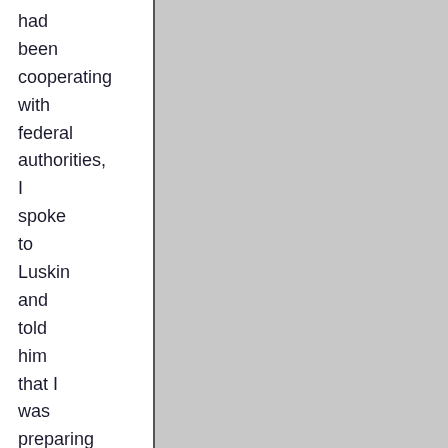had been cooperating with federal authorities, I spoke to Luskin and told him that I was preparing a lengthier story detailing Rove's contacts with